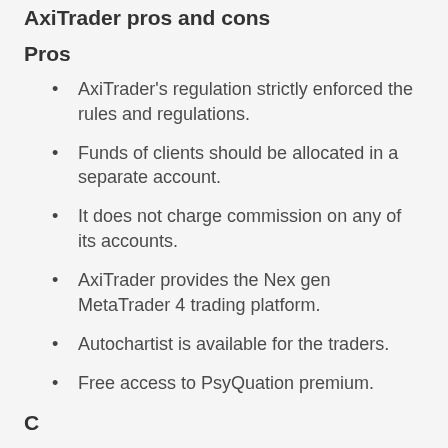AxiTrader pros and cons
Pros
AxiTrader's regulation strictly enforced the rules and regulations.
Funds of clients should be allocated in a separate account.
It does not charge commission on any of its accounts.
AxiTrader provides the Nex gen MetaTrader 4 trading platform.
Autochartist is available for the traders.
Free access to PsyQuation premium.
Cons